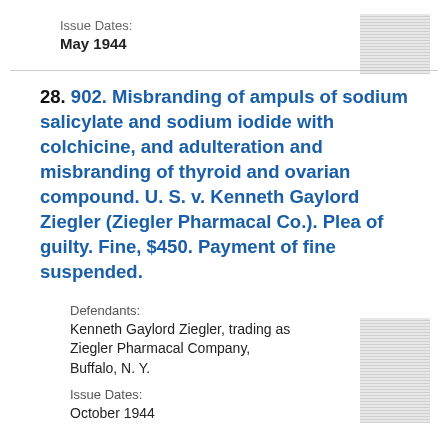Issue Dates:
May 1944
[Figure (other): Thumbnail image of document page, top right]
28. 902. Misbranding of ampuls of sodium salicylate and sodium iodide with colchicine, and adulteration and misbranding of thyroid and ovarian compound. U. S. v. Kenneth Gaylord Ziegler (Ziegler Pharmacal Co.). Plea of guilty. Fine, $450. Payment of fine suspended.
Defendants:
Kenneth Gaylord Ziegler, trading as Ziegler Pharmacal Company, Buffalo, N. Y.
[Figure (other): Thumbnail image of document page, right side]
Issue Dates:
October 1944